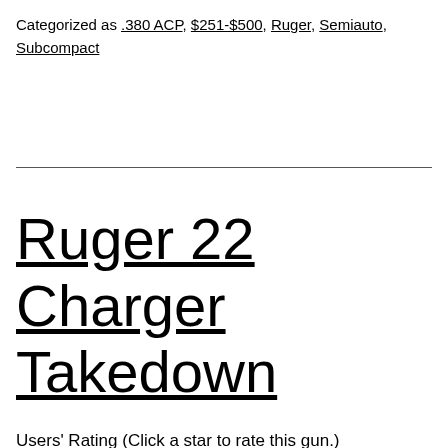Categorized as .380 ACP, $251-$500, Ruger, Semiauto, Subcompact
Ruger 22 Charger Takedown
Users' Rating (Click a star to rate this gun.) Summary: The description, specs, pricing, photo and user ratings for the Ruger 22